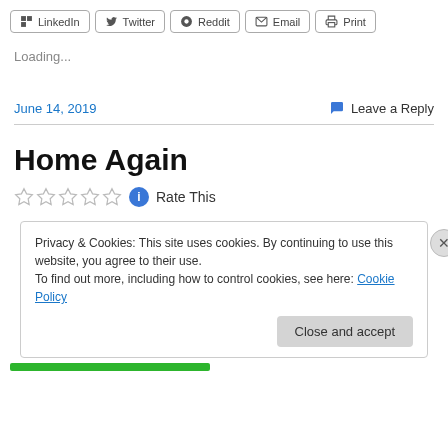[Figure (other): Social share buttons: LinkedIn, Twitter, Reddit, Email, Print]
Loading...
June 14, 2019     Leave a Reply
Home Again
☆☆☆☆☆ ℹ Rate This
Privacy & Cookies: This site uses cookies. By continuing to use this website, you agree to their use. To find out more, including how to control cookies, see here: Cookie Policy
Close and accept